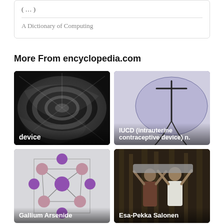(…)
A Dictionary of Computing
More From encyclopedia.com
[Figure (photo): Dark swirling vortex/turbine machinery photo with label 'device']
[Figure (illustration): Medical illustration of IUCD (intrauterine contraceptive device) on lavender background with label 'IUCD (intrauterine contraceptive device) n.']
[Figure (illustration): 3D molecular model of Gallium Arsenide crystal structure with purple and pink spheres on light background with label 'Gallium Arsenide']
[Figure (photo): Photo of people outdoors with label 'Esa-Pekka Salonen']